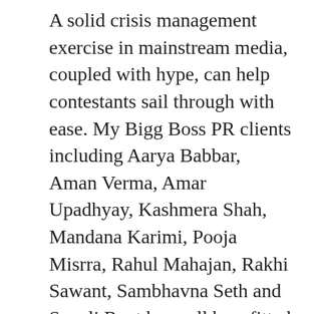A solid crisis management exercise in mainstream media, coupled with hype, can help contestants sail through with ease. My Bigg Boss PR clients including Aarya Babbar, Aman Verma, Amar Upadhyay, Kashmera Shah, Mandana Karimi, Pooja Misrra, Rahul Mahajan, Rakhi Sawant, Sambhavna Seth and Sonali Raut have all benefitted with a strong PR presence. But then, many BB contestants completely fail to understand the need for PR. Some even become arrogant by the time they come out of the show.
They think that by being on national television for three months and sharing screen space with megastar host Salman Khan has made them a star. So they start